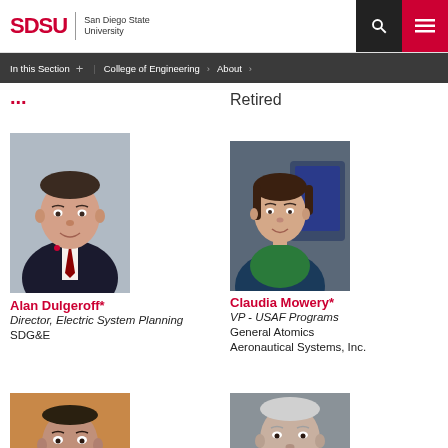SDSU | San Diego State University
In this Section + | College of Engineering > About >
Retired
[Figure (photo): Headshot of Alan Dulgeroff, male professional in suit with red tie]
Alan Dulgeroff*
Director, Electric System Planning
SDG&E
[Figure (photo): Headshot of Claudia Mowery, female professional]
Claudia Mowery*
VP - USAF Programs
General Atomics Aeronautical Systems, Inc.
[Figure (photo): Headshot of a male professional, bottom left]
[Figure (photo): Headshot of a male professional, bottom right]